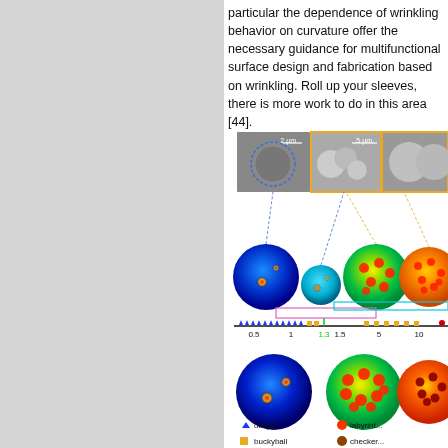particular the dependence of wrinkling behavior on curvature offer the necessary guidance for multifunctional surface design and fabrication based on wrinkling. Roll up your sleeves, there is more work to do in this area [44].
[Figure (infographic): Scientific figure showing SEM images of wrinkled spherical particles at top, simulation results of dimple/buckyball/labyrinth/checkerboard patterns on spheres at various size ratios, a phase diagram axis showing transitions at 0.5, 1, 1.3, 1.5, 5, 10, and a legend identifying dimple (blue triangle), buckyball (orange square), labyrinth (red dome), checkerboard (brown dome), with reference boxes for Cao et al. (2008) and another reference.]